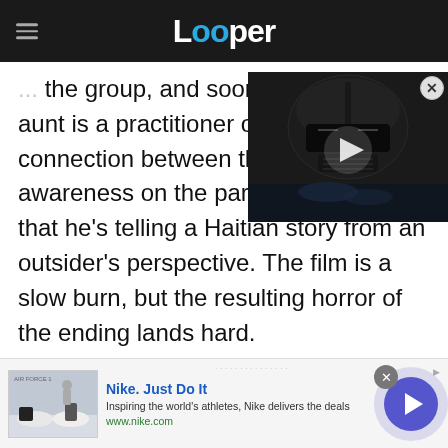Looper
the group, and soon, the Ha... aunt is a practitioner of voo... connection between the tw... awareness on the part of di... that he's telling a Haitian story from an outsider's perspective. The film is a slow burn, but the resulting horror of the ending lands hard.
[Figure (screenshot): Video thumbnail showing Darth Vader helmet with play button overlay, close button in top right corner]
[Figure (screenshot): Nike advertisement banner: 'Nike. Just Do It' — Inspiring the world's athletes, Nike delivers the deals. www.nike.com — with shoe product thumbnail and arrow button]